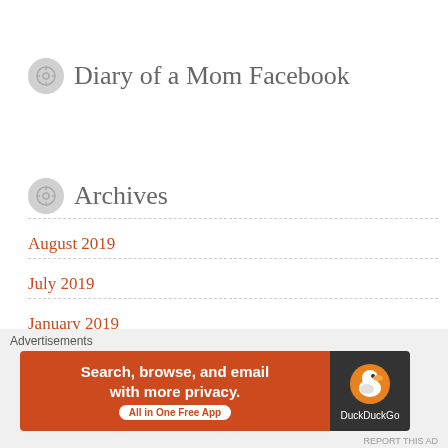Diary of a Mom Facebook
Archives
August 2019
July 2019
January 2019
September 2018
Advertisements
[Figure (screenshot): DuckDuckGo advertisement banner: 'Search, browse, and email with more privacy. All in One Free App' with DuckDuckGo logo on dark background]